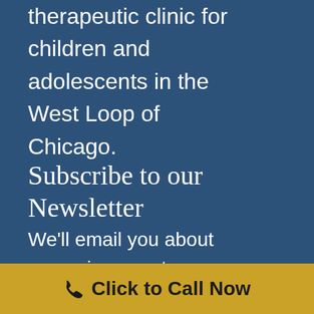therapeutic clinic for children and adolescents in the West Loop of Chicago.
Subscribe to our Newsletter
We'll email you about upcoming events, CEUs, and services
Click to Call Now